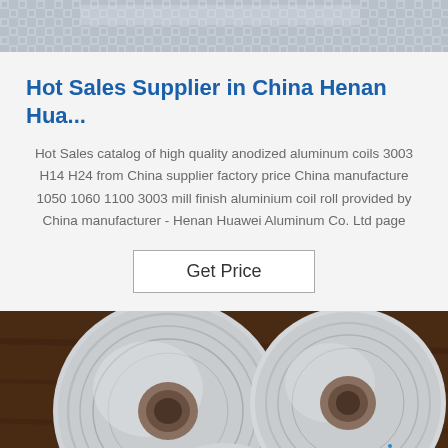[Figure (photo): Partial view of aluminum coils/mesh product at top of page]
Hot Sales Supplier in China Henan Hua...
Hot Sales catalog of high quality anodized aluminum coils 3003 H14 H24 from China supplier factory price China manufacture 1050 1060 1100 3003 mill finish aluminium coil roll provided by China manufacturer - Henan Huawei Aluminum Co. Ltd page
Get Price
[Figure (photo): Photo of aluminum coil rolls on a dark wooden surface, with a 'TOP' watermark in the bottom right corner]